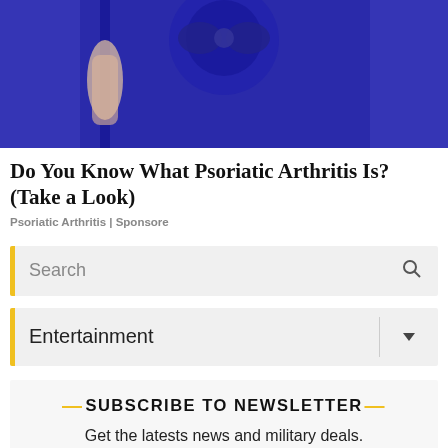[Figure (photo): Partial photo of a person wearing blue athletic/compression pants, cropped at the waist]
Do You Know What Psoriatic Arthritis Is? (Take a Look)
Psoriatic Arthritis | Sponsore
[Figure (screenshot): Search bar UI element with yellow left accent bar and magnifying glass icon]
[Figure (screenshot): Entertainment dropdown menu UI element with yellow left accent bar and dropdown arrow]
SUBSCRIBE TO NEWSLETTER
Get the latests news and military deals.
[Figure (screenshot): Advertisement banner: Kaufcom GmbH - Babsy Baby singing Twinkle with OPEN button]